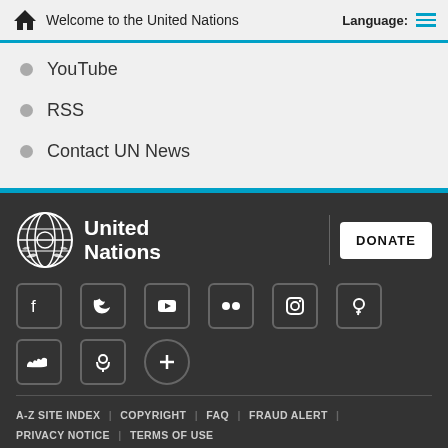Welcome to the United Nations   Language:
YouTube
RSS
Contact UN News
[Figure (logo): United Nations emblem and text logo with DONATE button]
[Figure (infographic): Social media icons: Facebook, Twitter, YouTube, Flickr, Instagram, Pinterest, SoundCloud, Podcast, plus icon]
A-Z SITE INDEX | COPYRIGHT | FAQ | FRAUD ALERT | PRIVACY NOTICE | TERMS OF USE